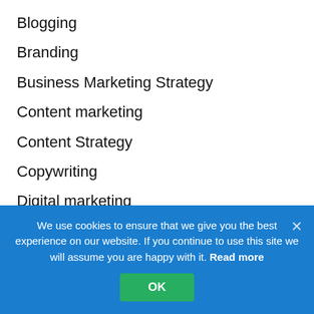Blogging
Branding
Business Marketing Strategy
Content marketing
Content Strategy
Copywriting
Digital marketing
Ecommerce
Email marketing
Entrepreneurship
Google
We use cookies to ensure that we give you the best experience on our website. If you continue to use this site we will assume you are happy with it. Read more
OK